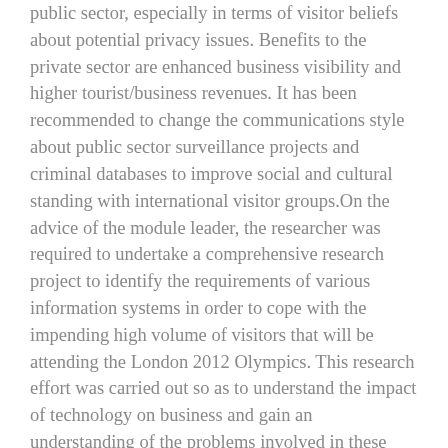public sector, especially in terms of visitor beliefs about potential privacy issues. Benefits to the private sector are enhanced business visibility and higher tourist/business revenues. It has been recommended to change the communications style about public sector surveillance projects and criminal databases to improve social and cultural standing with international visitor groups.On the advice of the module leader, the researcher was required to undertake a comprehensive research project to identify the requirements of various information systems in order to cope with the impending high volume of visitors that will be attending the London 2012 Olympics. This research effort was carried out so as to understand the impact of technology on business and gain an understanding of the problems involved in these large-scale IT projects.This report identifies the specific information systems requirements, in terms of usage and development, that will be included as part of the information technology infrastructure at the 2012 Olympics. The research provides how this technology